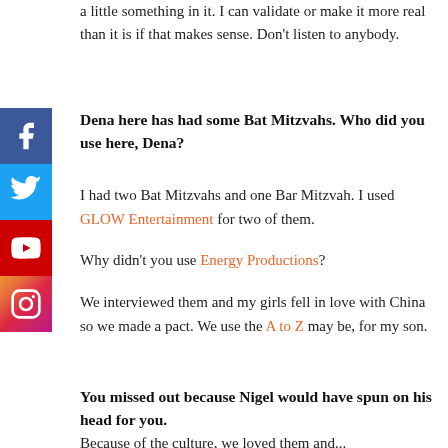a little something in it. I can validate or make it more real than it is if that makes sense. Don't listen to anybody.
[Figure (other): Social media sidebar icons: Facebook, Twitter, YouTube, Instagram]
Dena here has had some Bat Mitzvahs. Who did you use here, Dena?
I had two Bat Mitzvahs and one Bar Mitzvah. I used GLOW Entertainment for two of them.
Why didn't you use Energy Productions?
We interviewed them and my girls fell in love with China so we made a pact. We use the A to Z may be, for my son.
You missed out because Nigel would have spun on his head for you.
Because of the culture, we loved them and...